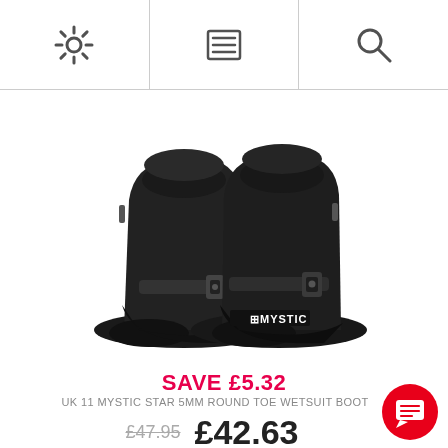Navigation bar with settings, menu, and search icons
[Figure (photo): A pair of black Mystic wetsuit boots (Star 5mm Round Toe). The boots are black neoprene with a rubber sole, ankle strap with buckle, and the Mystic logo printed in white on the front. Shown from a front-angled view.]
SAVE £5.32
UK 11 MYSTIC STAR 5MM ROUND TOE WETSUIT BOOT
£47.95  £42.63